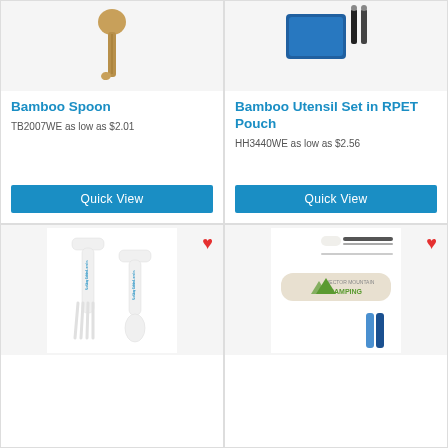[Figure (photo): Bamboo spoon product image on white background]
Bamboo Spoon
TB2007WE as low as $2.01
Quick View
[Figure (photo): Bamboo Utensil Set in RPET Pouch product image showing blue pouch and utensils]
Bamboo Utensil Set in RPET Pouch
HH3440WE as low as $2.56
Quick View
[Figure (photo): White plastic fork and spoon set branded with Our Little Lambs Nursery School logo in blue]
[Figure (photo): Reusable straw set in wheat straw case branded with Vector Mountain Camping logo, showing straws, brush, and case components]